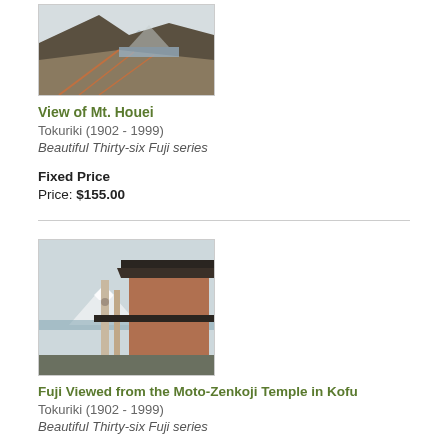[Figure (photo): Japanese woodblock print showing a view of Mt. Houei with landscape scene]
View of Mt. Houei
Tokuriki (1902 - 1999)
Beautiful Thirty-six Fuji series
Fixed Price
Price: $155.00
[Figure (photo): Japanese woodblock print showing Fuji viewed from Moto-Zenkoji Temple in Kofu, featuring temple building in foreground and Mt. Fuji in background]
Fuji Viewed from the Moto-Zenkoji Temple in Kofu
Tokuriki (1902 - 1999)
Beautiful Thirty-six Fuji series